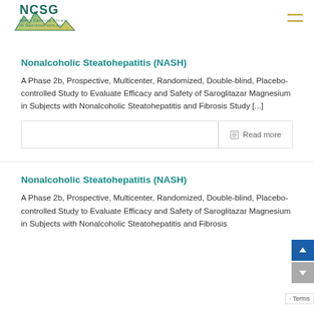[Figure (logo): NCSG North Carolina Society of Gastroenterology logo with mountain/map graphic in teal and gold]
Nonalcoholic Steatohepatitis (NASH)
A Phase 2b, Prospective, Multicenter, Randomized, Double-blind, Placebo-controlled Study to Evaluate Efficacy and Safety of Saroglitazar Magnesium in Subjects with Nonalcoholic Steatohepatitis and Fibrosis Study [...]
Read more
Nonalcoholic Steatohepatitis (NASH)
A Phase 2b, Prospective, Multicenter, Randomized, Double-blind, Placebo-controlled Study to Evaluate Efficacy and Safety of Saroglitazar Magnesium in Subjects with Nonalcoholic Steatohepatitis and Fibrosis